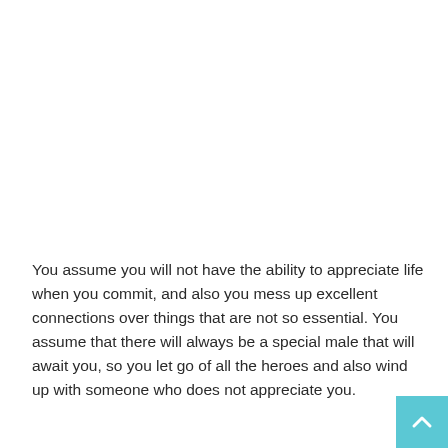You assume you will not have the ability to appreciate life when you commit, and also you mess up excellent connections over things that are not so essential. You assume that there will always be a special male that will await you, so you let go of all the heroes and also wind up with someone who does not appreciate you.